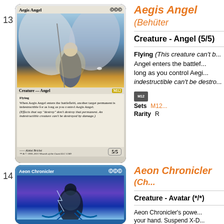13
[Figure (illustration): Magic: The Gathering card - Aegis Angel, showing an armored angel with wings, holding a spear, set M12. Creature - Angel, 5/5. Flying. When Aegis Angel enters the battlefield, another target permanent is indestructible for as long as you control Aegis Angel.]
Aegis Angel (Behüter...)
Creature - Angel (5/5)
Flying (This creature can't b... Angel enters the battlef... long as you control Aegi... indestructible can't be destro...
| Sets | M12... |
| --- | --- |
| Rarity | R |
14
[Figure (illustration): Magic: The Gathering card - Aeon Chronicler, showing a dark figure with tentacles in blue/purple tones. Set: Planar Chaos. Creature - Avatar (*/*).]
Aeon Chronicler (Ch...)
Creature - Avatar (*/*)
Aeon Chronicler's powe... your hand. Suspend X-D...